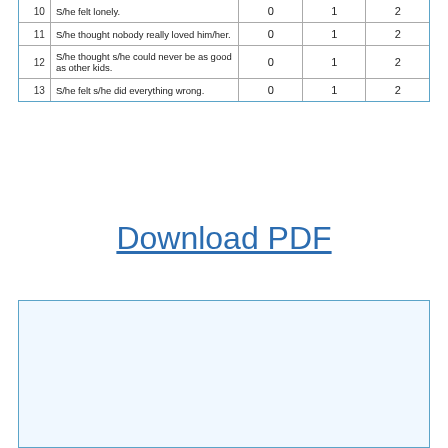| # | Item | 0 | 1 | 2 |
| --- | --- | --- | --- | --- |
| 10 | S/he felt lonely. | 0 | 1 | 2 |
| 11 | S/he thought nobody really loved him/her. | 0 | 1 | 2 |
| 12 | S/he thought s/he could never be as good as other kids. | 0 | 1 | 2 |
| 13 | S/he felt s/he did everything wrong. | 0 | 1 | 2 |
Download PDF
[Figure (other): Empty light blue bordered box, likely a content placeholder area.]